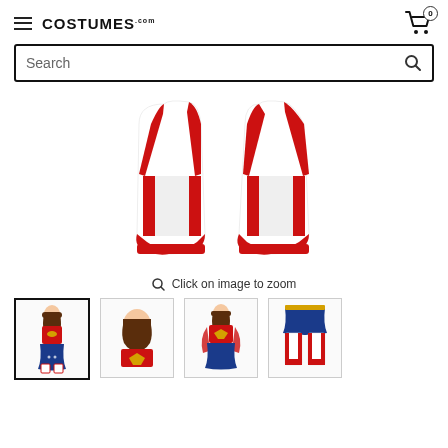COSTUMES.COM — hamburger menu, cart with 0 items
Search
[Figure (photo): Product photo of red and white Wonder Woman boot covers for kids, showing the two boot covers standing upright against a white background]
Click on image to zoom
[Figure (photo): Thumbnail 1 (active/selected): Full Wonder Woman girls costume – red top with gold logo, blue skirt, white and red boots]
[Figure (photo): Thumbnail 2: Close-up of Wonder Woman girls costume showing the gold eagle logo on the red top]
[Figure (photo): Thumbnail 3: Wonder Woman girls costume from front showing blue skirt and red cape]
[Figure (photo): Thumbnail 4: Lower half of Wonder Woman girls costume showing blue skirt and red/white boot covers]